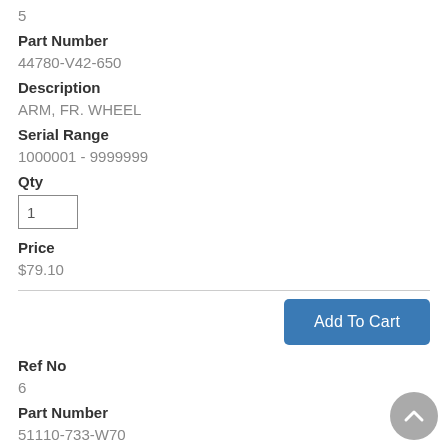5
Part Number
44780-V42-650
Description
ARM, FR. WHEEL
Serial Range
1000001 - 9999999
Qty
1
Price
$79.10
Add To Cart
Ref No
6
Part Number
51110-733-W70
Description
BED, ENGINE
Serial Range